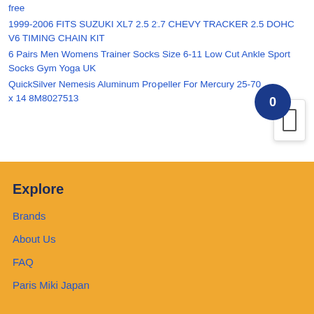free
1999-2006 FITS SUZUKI XL7 2.5 2.7 CHEVY TRACKER 2.5 DOHC V6 TIMING CHAIN KIT
6 Pairs Men Womens Trainer Socks Size 6-11 Low Cut Ankle Sport Socks Gym Yoga UK
QuickSilver Nemesis Aluminum Propeller For Mercury 25-70 x 14 8M8027513
Explore
Brands
About Us
FAQ
Paris Miki Japan